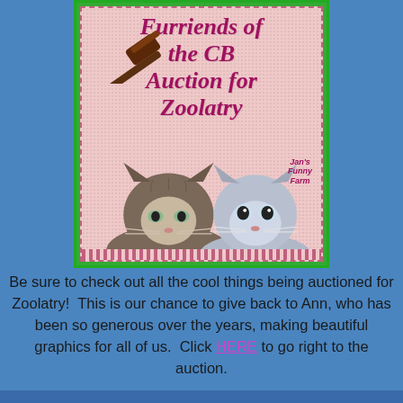[Figure (illustration): Event poster for 'Furriends of the CB Auction for Zoolatry' featuring a gavel, two Persian/Himalayan cats, on a pink speckled background with green border. Jan's Funny Farm logo in bottom right.]
Be sure to check out all the cool things being auctioned for Zoolatry!  This is our chance to give back to Ann, who has been so generous over the years, making beautiful graphics for all of us.  Click HERE to go right to the auction.